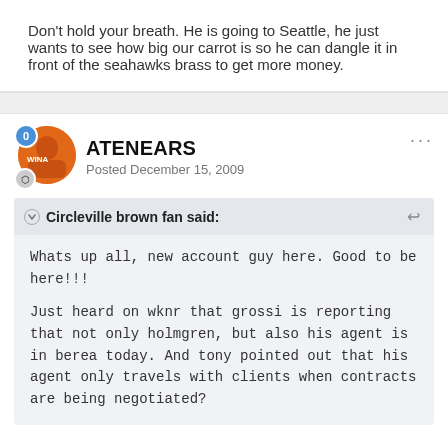Don't hold your breath. He is going to Seattle, he just wants to see how big our carrot is so he can dangle it in front of the seahawks brass to get more money.
ATENEARS
Posted December 15, 2009
Circleville brown fan said:
Whats up all, new account guy here. Good to be here!!!
Just heard on wknr that grossi is reporting that not only holmgren, but also his agent is in berea today. And tony pointed out that his agent only travels with clients when contracts are being negotiated?